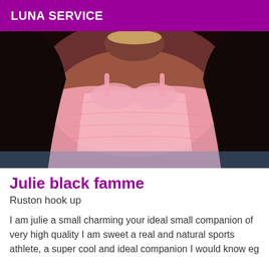LUNA SERVICE
[Figure (photo): Photo of a woman wearing a pink lace strapless top, cropped view of torso and lower face]
Julie black famme
Ruston hook up
I am julie a small charming your ideal small companion of very high quality I am sweet a real and natural sports athlete, a super cool and ideal companion I would know eg